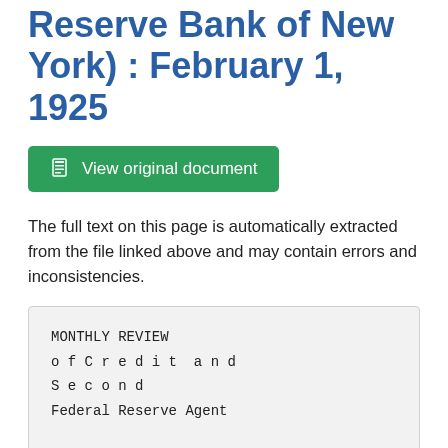Reserve Bank of New York) : February 1, 1925
View original document
The full text on this page is automatically extracted from the file linked above and may contain errors and inconsistencies.
MONTHLY REVIEW
of Credit and
Second
Federal Reserve Agent

Business

Federal

Reserve

Conditions